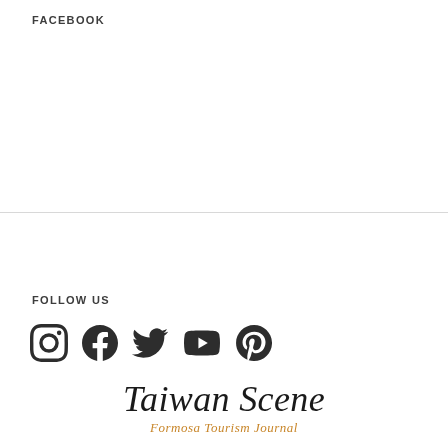FACEBOOK
FOLLOW US
[Figure (infographic): Social media icons: Instagram, Facebook, Twitter, YouTube, Pinterest]
Taiwan Scene
Formosa Tourism Journal